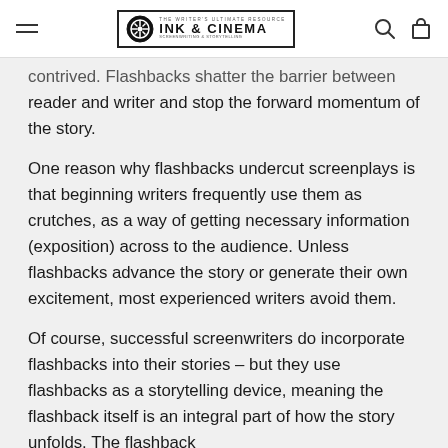INK & CINEMA
contrived. Flashbacks shatter the barrier between reader and writer and stop the forward momentum of the story.
One reason why flashbacks undercut screenplays is that beginning writers frequently use them as crutches, as a way of getting necessary information (exposition) across to the audience. Unless flashbacks advance the story or generate their own excitement, most experienced writers avoid them.
Of course, successful screenwriters do incorporate flashbacks into their stories – but they use flashbacks as a storytelling device, meaning the flashback itself is an integral part of how the story unfolds. The flashback has a valid purpose.